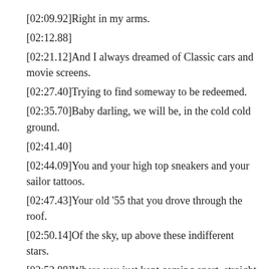[02:09.92]Right in my arms.
[02:12.88]
[02:21.12]And I always dreamed of Classic cars and movie screens.
[02:27.40]Trying to find someway to be redeemed.
[02:35.70]Baby darling, we will be, in the cold cold ground.
[02:41.40]
[02:44.09]You and your high top sneakers and your sailor tattoos.
[02:47.43]Your old '55 that you drove through the roof.
[02:50.14]Of the sky, up above these indifferent stars.
[02:52.88]Where you just kept coming apart, straight in my arms.
[02:55.66]You and your high top sneakers and your sailor tattoos.
[02:58.55]Your old '55 that you drove through the roof.